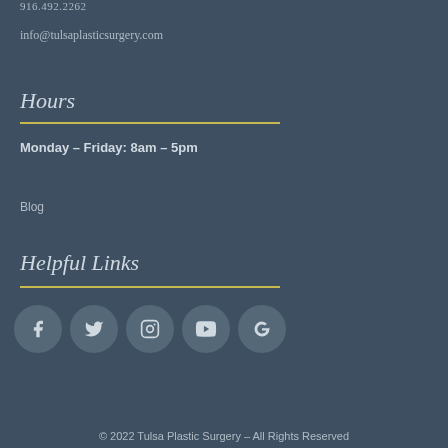916.492.2262
info@tulsaplasticsurgery.com
Hours
Monday – Friday: 8am – 5pm
Blog
Helpful Links
[Figure (other): Social media icons: Facebook, Twitter, Instagram, YouTube, Google]
© 2022 Tulsa Plastic Surgery – All Rights Reserved